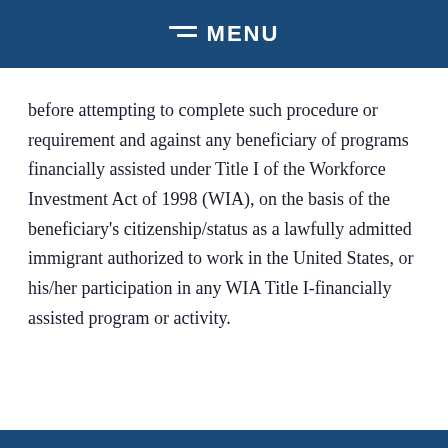MENU
before attempting to complete such procedure or requirement and against any beneficiary of programs financially assisted under Title I of the Workforce Investment Act of 1998 (WIA), on the basis of the beneficiary's citizenship/status as a lawfully admitted immigrant authorized to work in the United States, or his/her participation in any WIA Title I-financially assisted program or activity.